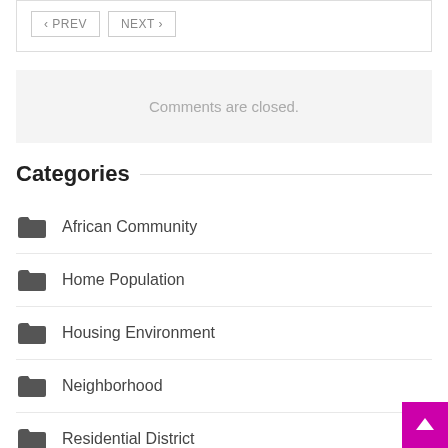< PREV   NEXT >
Comments are closed.
Categories
African Community
Home Population
Housing Environment
Neighborhood
Residential District